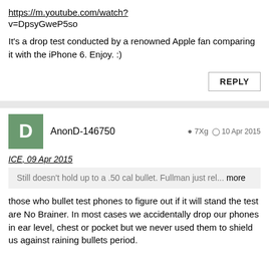https://m.youtube.com/watch?
v=DpsyGweP5so
It's a drop test conducted by a renowned Apple fan comparing it with the iPhone 6. Enjoy. :)
REPLY
D  AnonD-146750  🔷 7Xg  🕐 10 Apr 2015
ICE, 09 Apr 2015
Still doesn't hold up to a .50 cal bullet. Fullman just rel... more
those who bullet test phones to figure out if it will stand the test are No Brainer. In most cases we accidentally drop our phones in ear level, chest or pocket but we never used them to shield us against raining bullets period.